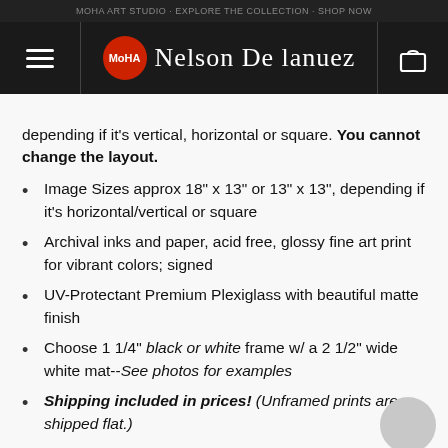[Figure (screenshot): Dark navigation bar with hamburger menu icon on left, MoHA red circle logo with 'Nelson De Lanuez' script text in center, and shopping bag icon on right]
depending if it's vertical, horizontal or square. You cannot change the layout.
Image Sizes approx 18" x 13" or 13" x 13", depending if it's horizontal/vertical or square
Archival inks and paper, acid free, glossy fine art print for vibrant colors; signed
UV-Protectant Premium Plexiglass with beautiful matte finish
Choose 1 1/4" black or white frame w/ a 2 1/2" wide white mat--See photos for examples
Shipping included in prices! (Unframed prints are shipped flat.)